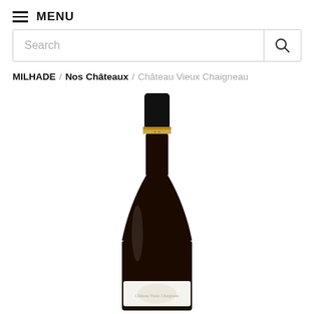MENU
Search
MILHADE / Nos Châteaux / Château Vieux Chaigneau
[Figure (photo): A wine bottle of Château Vieux Chaigneau with black top, gold band, and white label visible at bottom, photographed on white background.]